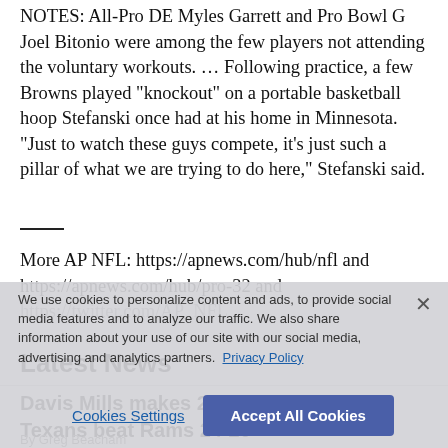NOTES: All-Pro DE Myles Garrett and Pro Bowl G Joel Bitonio were among the few players not attending the voluntary workouts. ... Following practice, a few Browns played “knockout” on a portable basketball hoop Stefanski once had at his home in Minnesota. “Just to watch these guys compete, it’s just such a pillar of what we are trying to do here,” Stefanski said.
More AP NFL: https://apnews.com/hub/nfl and https://apnews.com/hub/pro-32 and https://twitter.com/AP_NFL
Latest News
We use cookies to personalize content and ads, to provide social media features and to analyze our traffic. We also share information about your use of our site with our social media, advertising and analytics partners. Privacy Policy
Davis Mills makes 2 big throws late, Texans beat Rams 24-20
By Greg Beacham